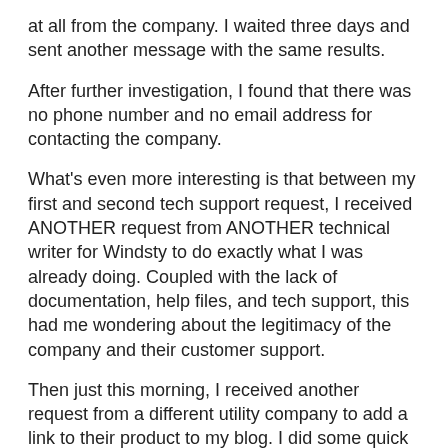at all from the company. I waited three days and sent another message with the same results.
After further investigation, I found that there was no phone number and no email address for contacting the company.
What's even more interesting is that between my first and second tech support request, I received ANOTHER request from ANOTHER technical writer for Windsty to do exactly what I was already doing. Coupled with the lack of documentation, help files, and tech support, this had me wondering about the legitimacy of the company and their customer support.
Then just this morning, I received another request from a different utility company to add a link to their product to my blog. I did some quick checking to see if I there were ties between the two companies, but came up with nothing, but it appears to be a marketing ploy to use the blogsphere to promote products through questionable social networking practices.